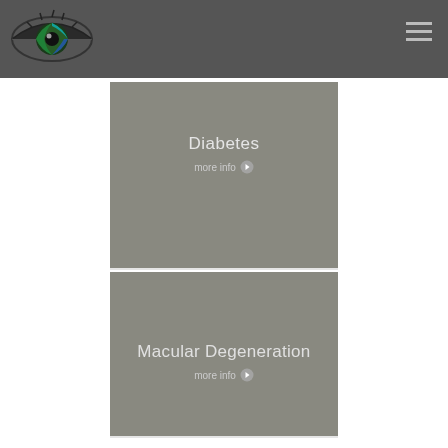[Figure (logo): Eye clinic logo — stylized eye with colorful iris and text]
Diabetes
more info ▶
Macular Degeneration
more info ▶